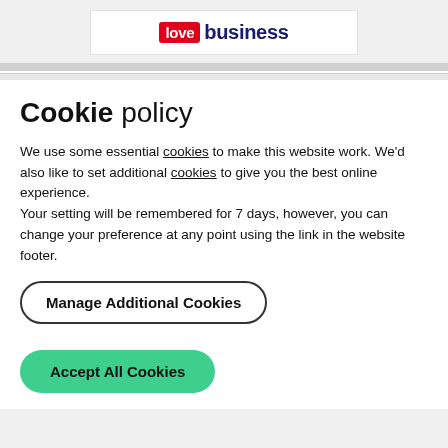[Figure (logo): Love Business logo: red rounded rectangle with white 'love' text, followed by dark navy bold 'business' text]
Cookie policy
We use some essential cookies to make this website work. We'd also like to set additional cookies to give you the best online experience.
Your setting will be remembered for 7 days, however, you can change your preference at any point using the link in the website footer.
Manage Additional Cookies
Accept All Cookies